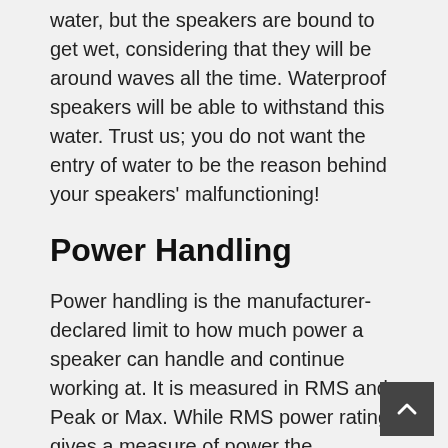water, but the speakers are bound to get wet, considering that they will be around waves all the time. Waterproof speakers will be able to withstand this water. Trust us; you do not want the entry of water to be the reason behind your speakers' malfunctioning!
Power Handling
Power handling is the manufacturer-declared limit to how much power a speaker can handle and continue working at. It is measured in RMS and Peak or Max. While RMS power rating gives a measure of power the